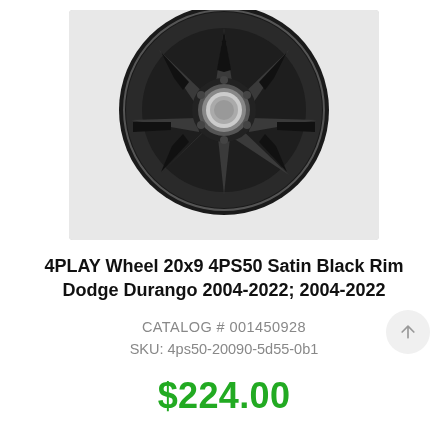[Figure (photo): Close-up photo of a 4PLAY 4PS50 Satin Black wheel rim, showing the multi-spoke design with a center cap bearing a logo, against a white background.]
4PLAY Wheel 20x9 4PS50 Satin Black Rim Dodge Durango 2004-2022; 2004-2022
CATALOG # 001450928
SKU: 4ps50-20090-5d55-0b1
$224.00